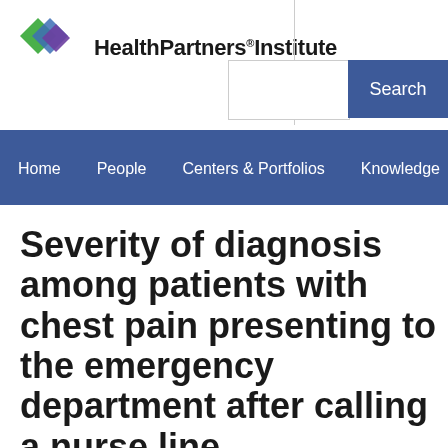HealthPartners Institute
Search
Home   People   Centers & Portfolios   Knowledge
Severity of diagnosis among patients with chest pain presenting to the emergency department after calling a nurse line